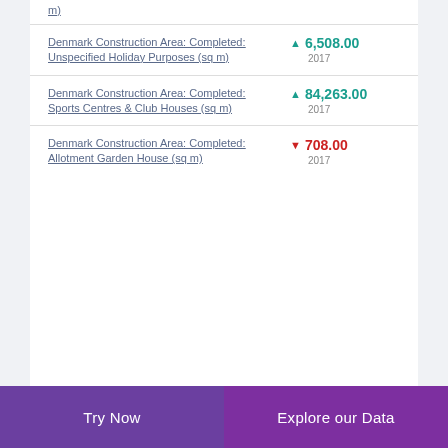m)
Denmark Construction Area: Completed: Unspecified Holiday Purposes (sq m)
Denmark Construction Area: Completed: Sports Centres & Club Houses (sq m)
Denmark Construction Area: Completed: Allotment Garden House (sq m)
Try Now | Explore our Data